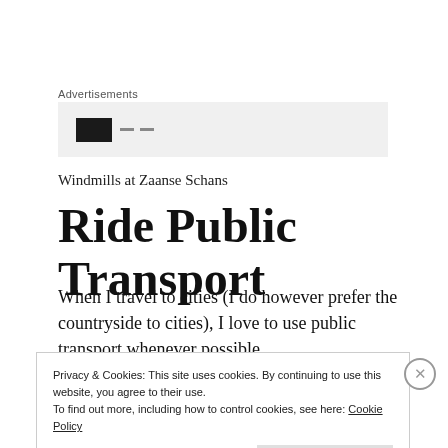Advertisements
[Figure (other): Advertisement placeholder box with black rectangle and dashes]
Windmills at Zaanse Schans
Ride Public Transport
When I travel to cities (I do however prefer the countryside to cities), I love to use public transport whenever possible.
Privacy & Cookies: This site uses cookies. By continuing to use this website, you agree to their use.
To find out more, including how to control cookies, see here: Cookie Policy
Close and accept